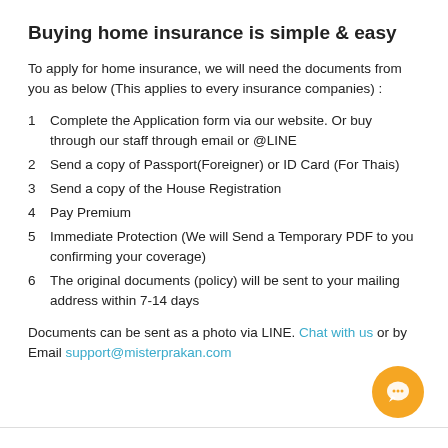Buying home insurance is simple & easy
To apply for home insurance, we will need the documents from you as below (This applies to every insurance companies) :
Complete the Application form via our website. Or buy through our staff through email or @LINE
Send a copy of Passport(Foreigner) or ID Card (For Thais)
Send a copy of the House Registration
Pay Premium
Immediate Protection (We will Send a Temporary PDF to you confirming your coverage)
The original documents (policy) will be sent to your mailing address within 7-14 days
Documents can be sent as a photo via LINE. Chat with us or by Email support@misterprakan.com
[Figure (illustration): Orange circular chat/message button icon in bottom right corner]